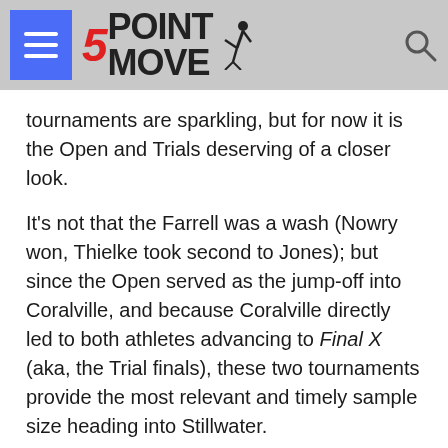5POINT MOVE
tournaments are sparkling, but for now it is the Open and Trials deserving of a closer look.
It's not that the Farrell was a wash (Nowry won, Thielke took second to Jones); but since the Open served as the jump-off into Coralville, and because Coralville directly led to both athletes advancing to Final X (aka, the Trial finals), these two tournaments provide the most relevant and timely sample size heading into Stillwater.
Par terre top is how the duo piled up the most points in Vegas, with one difference being that Nowry took matters into his own hands in both of his Open wins, whereas Thielke received two of his three PTO (par terre opportunities) via passivity.
The Trials betrayed a similar statistical profile for Nowry